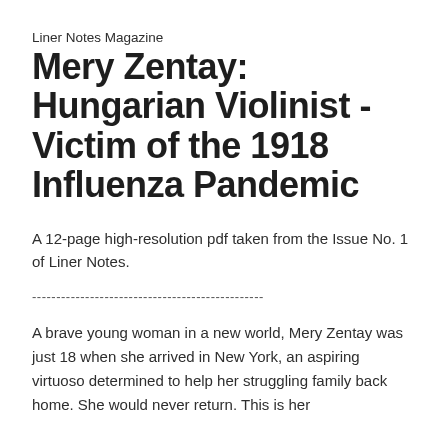Liner Notes Magazine
Mery Zentay: Hungarian Violinist - Victim of the 1918 Influenza Pandemic
A 12-page high-resolution pdf taken from the Issue No. 1 of Liner Notes.
------------------------------------------------
A brave young woman in a new world, Mery Zentay was just 18 when she arrived in New York, an aspiring virtuoso determined to help her struggling family back home. She would never return. This is her